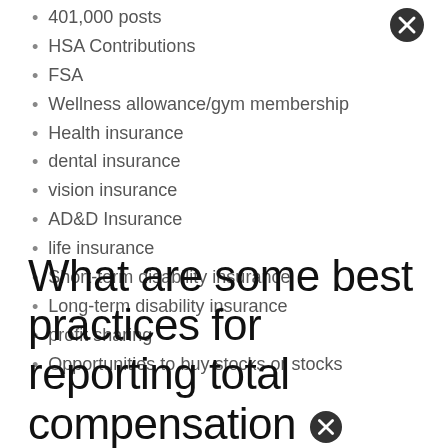401,000 posts
HSA Contributions
FSA
Wellness allowance/gym membership
Health insurance
dental insurance
vision insurance
AD&D Insurance
life insurance
Short-term disability insurance
Long-term disability insurance
profit sharing
Opportunities to buy stocks or stocks
What are some best practices for reporting total compensation?